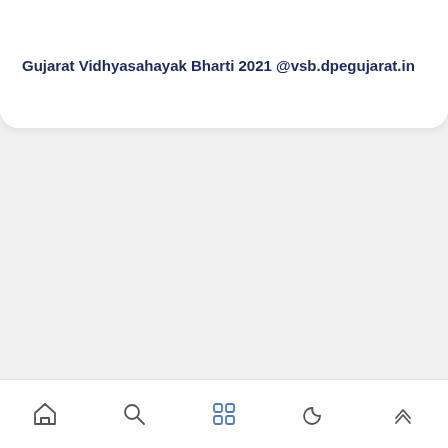Gujarat Vidhyasahayak Bharti 2021 @vsb.dpegujarat.in
[Figure (other): Mobile app bottom navigation bar with icons: home, search, grid/apps, moon/dark-mode, chevron-up]